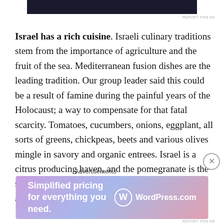[Figure (other): Dark banner advertisement at top of page]
Israel has a rich cuisine. Israeli culinary traditions stem from the importance of agriculture and the fruit of the sea. Mediterranean fusion dishes are the leading tradition. Our group leader said this could be a result of famine during the painful years of the Holocaust; a way to compensate for that fatal scarcity. Tomatoes, cucumbers, onions, eggplant, all sorts of greens, chickpeas, beets and various olives mingle in savory and organic entrees. Israel is a citrus producing haven, and the pomegranate is the symbol of the country. Persimmons, dates, apples and an impressive variety of
Advertisements
[Figure (other): WordPress.com advertisement: Simplified pricing for everything you need.]